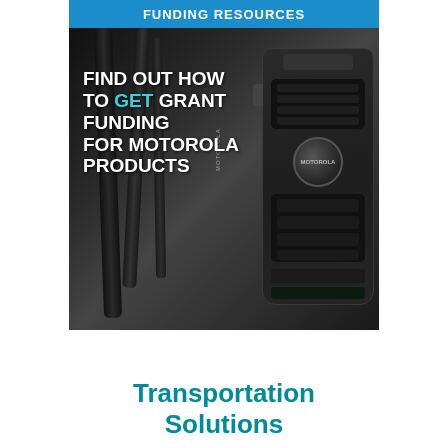FUNDING RESOURCES
[Figure (photo): Motorola two-way radio (walkie-talkie) against a dark background, with white bold text overlay reading 'FIND OUT HOW TO GET GRANT FUNDING FOR MOTOROLA PRODUCTS' and a blue banner at top reading 'FUNDING RESOURCES']
Transportation Solutions